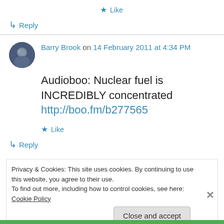★ Like
↳ Reply
Barry Brook on 14 February 2011 at 4:34 PM
Audioboo: Nuclear fuel is INCREDIBLY concentrated http://boo.fm/b277565
★ Like
↳ Reply
Privacy & Cookies: This site uses cookies. By continuing to use this website, you agree to their use.
To find out more, including how to control cookies, see here: Cookie Policy
Close and accept